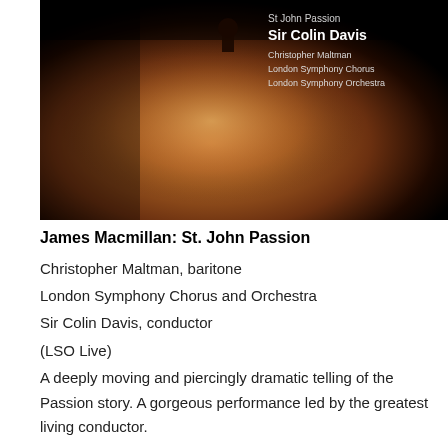[Figure (photo): Album cover for James Macmillan St John Passion conducted by Sir Colin Davis. Dark atmospheric image with a keyhole shape and warm amber/brown tones. Text overlay shows 'St John Passion', 'Sir Colin Davis', 'Christopher Maltman', 'London Symphony Chorus', 'London Symphony Orchestra'.]
James Macmillan: St. John Passion
Christopher Maltman, baritone
London Symphony Chorus and Orchestra
Sir Colin Davis, conductor
(LSO Live)
A deeply moving and piercingly dramatic telling of the Passion story. A gorgeous performance led by the greatest living conductor.